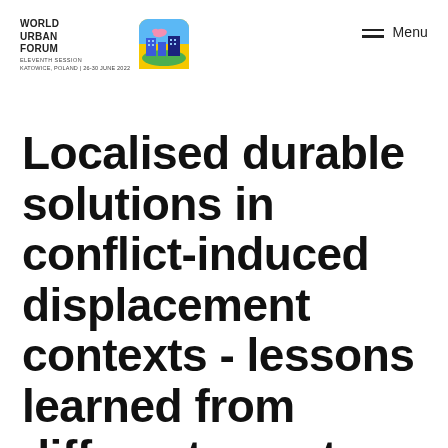WORLD URBAN FORUM ELEVENTH SESSION KATOWICE, POLAND | 26-30 JUNE 2022
Localised durable solutions in conflict-induced displacement contexts - lessons learned from different country contexts